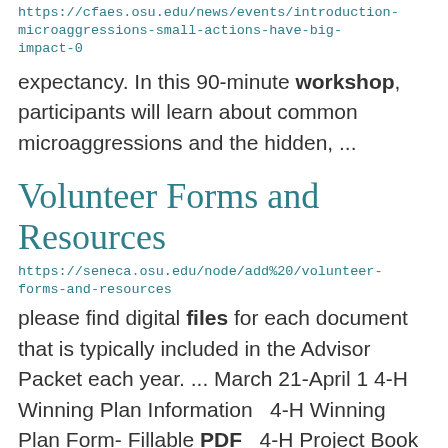https://cfaes.osu.edu/news/events/introduction-microaggressions-small-actions-have-big-impact-0
expectancy. In this 90-minute workshop, participants will learn about common microaggressions and the hidden, ...
Volunteer Forms and Resources
https://seneca.osu.edu/node/add%20/volunteer-forms-and-resources
please find digital files for each document that is typically included in the Advisor Packet each year. ... March 21-April 1 4-H Winning Plan Information   4-H Winning Plan Form- Fillable PDF   4-H Project Book ...        Constitution- Fillable PDF